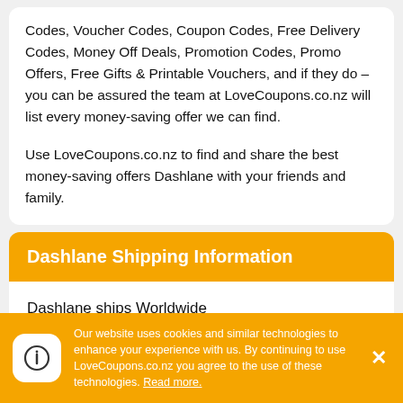Codes, Voucher Codes, Coupon Codes, Free Delivery Codes, Money Off Deals, Promotion Codes, Promo Offers, Free Gifts & Printable Vouchers, and if they do – you can be assured the team at LoveCoupons.co.nz will list every money-saving offer we can find.
Use LoveCoupons.co.nz to find and share the best money-saving offers Dashlane with your friends and family.
Dashlane Shipping Information
Dashlane ships Worldwide
Our website uses cookies and similar technologies to enhance your experience with us. By continuing to use LoveCoupons.co.nz you agree to the use of these technologies. Read more.